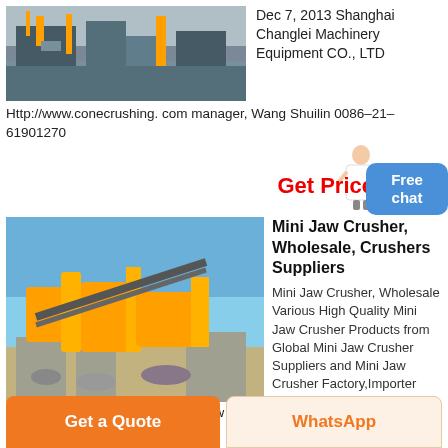[Figure (photo): Industrial machinery/crushing plant equipment photo at top left]
Dec 7, 2013 Shanghai Changlei Machinery Equipment CO., LTD
Http://www.conecrushing. com manager, Wang Shuilin 0086–21–61901270
Get Price
[Figure (photo): Yellow mini jaw crusher machinery at a quarry/mining site]
Mini Jaw Crusher, Wholesale, Crushers Suppliers
Mini Jaw Crusher, Wholesale Various High Quality Mini Jaw Crusher Products from Global Mini Jaw Crusher Suppliers and Mini Jaw Crusher Factory,Importer